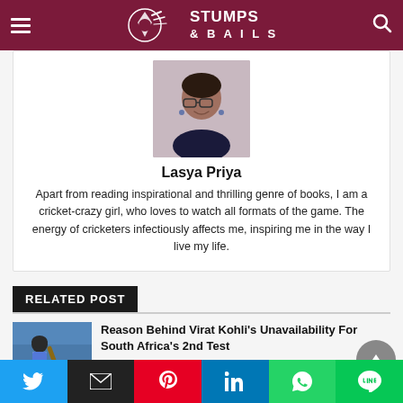Stumps & Bails
[Figure (photo): Profile photo of Lasya Priya, a young woman with glasses]
Lasya Priya
Apart from reading inspirational and thrilling genre of books, I am a cricket-crazy girl, who loves to watch all formats of the game. The energy of cricketers infectiously affects me, inspiring me in the way I live my life.
RELATED POST
[Figure (photo): Cricket player photo, Virat Kohli batting]
Reason Behind Virat Kohli's Unavailability For South Africa's 2nd Test
Team India's Test captain, Virat Kohli, has been forced